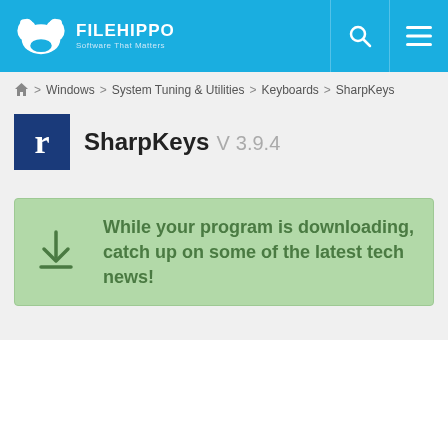FILEHIPPO — Software That Matters
Home > Windows > System Tuning & Utilities > Keyboards > SharpKeys
SharpKeys V 3.9.4
While your program is downloading, catch up on some of the latest tech news!